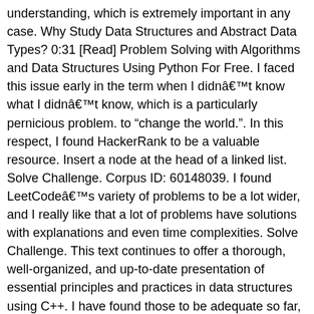understanding, which is extremely important in any case. Why Study Data Structures and Abstract Data Types? 0:31 [Read] Problem Solving with Algorithms and Data Structures Using Python For Free. I faced this issue early in the term when I didnâ€™t know what I didnâ€™t know, which is a particularly pernicious problem. to “change the world.”. In this respect, I found HackerRank to be a valuable resource. Insert a node at the head of a linked list. Solve Challenge. Corpus ID: 60148039. I found LeetCodeâ€™s variety of problems to be a lot wider, and I really like that a lot of problems have solutions with explanations and even time complexities. Solve Challenge. This text continues to offer a thorough, well-organized, and up-to-date presentation of essential principles and practices in data structures using C++. I have found those to be adequate so far, although you might have to step through the code a line at a time in an IDE to really understand something. Thumbnails Document Outline. For instance: You get the idea. Assignments; There is a wonderful collection of YouTube videos recorded by